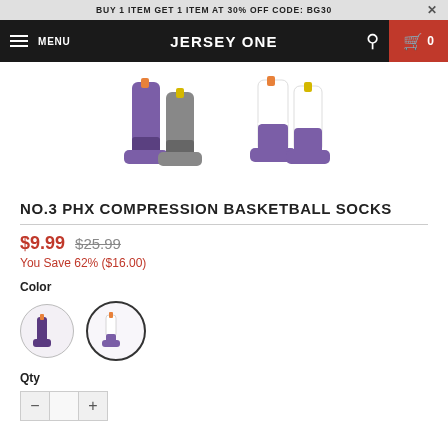BUY 1 ITEM GET 1 ITEM AT 30% OFF CODE: BG30
JERSEY ONE
[Figure (photo): Two pairs of basketball compression socks with purple and white colorways shown from feet/ankles down]
NO.3 PHX COMPRESSION BASKETBALL SOCKS
$9.99 $25.99
You Save 62% ($16.00)
Color
[Figure (photo): Two color swatch options for the socks — dark purple/black pair and white/purple pair, second is selected with a bold border]
Qty